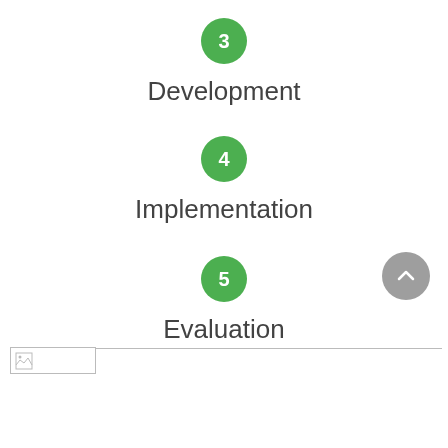[Figure (infographic): Step 3 circle badge with number 3 in green]
Development
[Figure (infographic): Step 4 circle badge with number 4 in green]
Implementation
[Figure (infographic): Step 5 circle badge with number 5 in green]
Evaluation